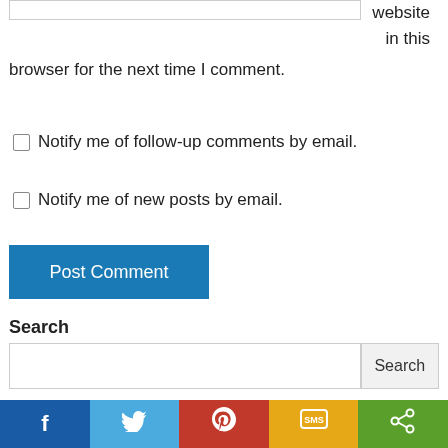website in this browser for the next time I comment.
Notify me of follow-up comments by email.
Notify me of new posts by email.
Post Comment
Search
Search
MORE BOOKS
f  (Twitter bird)  (Pinterest P)  SMS  <